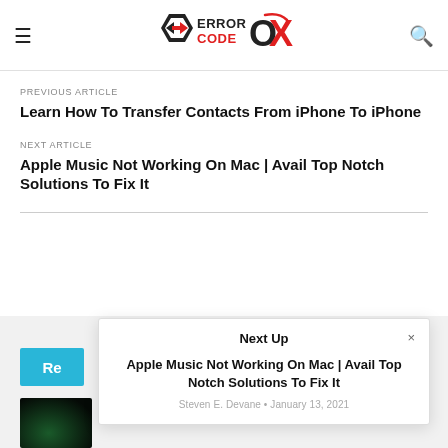ERROR CODE OX (logo)
PREVIOUS ARTICLE
Learn How To Transfer Contacts From iPhone To iPhone
NEXT ARTICLE
Apple Music Not Working On Mac | Avail Top Notch Solutions To Fix It
[Figure (screenshot): Next Up popup overlay showing article: Apple Music Not Working On Mac | Avail Top Notch Solutions To Fix It by Steven E. Devane, January 13, 2021. Close (x) button in top right.]